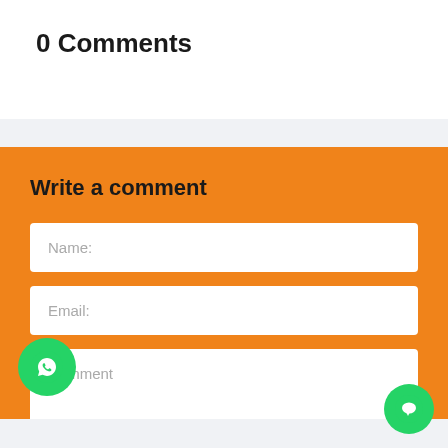0 Comments
Write a comment
Name:
Email:
Comment